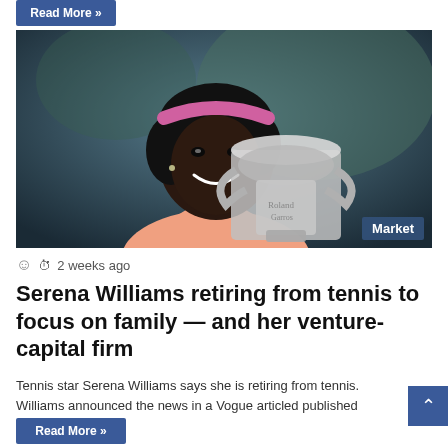[Figure (photo): Serena Williams smiling and holding a large silver tennis trophy, wearing a pink headband and peach outfit. A 'Market' badge appears in the bottom-right corner of the photo.]
2 weeks ago
Serena Williams retiring from tennis to focus on family — and her venture-capital firm
Tennis star Serena Williams says she is retiring from tennis. Williams announced the news in a Vogue articled published on…